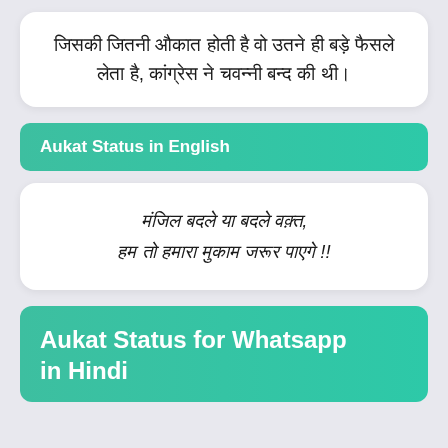जिसकी जितनी औकात होती है वो उतने ही बड़े फैसले लेता है, कांग्रेस ने चवन्नी बन्द की थी।
Aukat Status in English
मंजिल बदले या बदले वक़्त, हम तो हमारा मुकाम जरूर पाएगे !!
Aukat Status for Whatsapp in Hindi